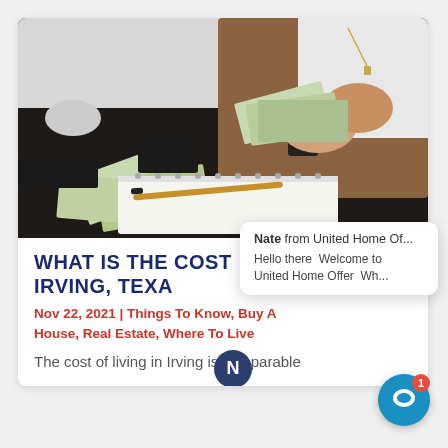[Figure (photo): Person counting US dollar bills over a dark desk with a spiral notebook and pen]
Nate from United Home Of...
Hello there  Welcome to United Home Offer  Wh...
WHAT IS THE COST OF LIVING IN IRVING, TEXAS
Nov 22, 2021 | Things To Know, Buy A House, Real Estate, Where To Live
The cost of living in Irving is comparable